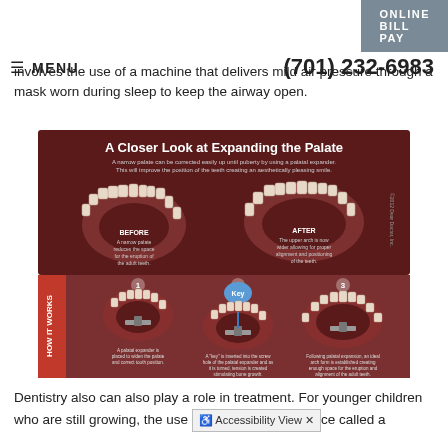ONLINE BILL PAY
≡ MENU   (701) 232-6983
involves the use of a machine that delivers mild air pressure through a mask worn during sleep to keep the airway open.
[Figure (infographic): A Closer Look at Expanding the Palate. Top section shows BEFORE and AFTER views of upper dental arch — BEFORE: a narrow palate reduces the space for the eruption of the adult teeth; AFTER: the upper arch is now wider allowing for proper alignment and positioning of the teeth. Copyright 2012 Dear Doctor, Inc. Bottom HOW IT WORKS section shows three steps with palatal expander illustrations: 1. A palatal expander is placed to widen the palate and correct tooth position. 2. A 'key' is inserted into the screw hole of the palatal expander and as it is turned, tension is created stimulating bone growth. 3. Following palatal expansion, an ideal arch form is established creating enough space for the eruption and alignment of the adult teeth.]
Dentistry also can also play a role in treatment. For younger children who are still growing, the use of a dental appliance called a